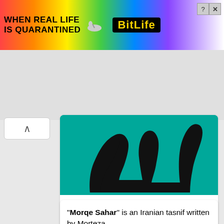[Figure (screenshot): BitLife advertisement banner with rainbow background, text 'WHEN REAL LIFE IS QUARANTINED' and 'BitLife' logo with emoji characters]
[Figure (photo): Album art for Alaki - black Arabic/Persian calligraphic text on teal/turquoise background]
Alaki is a live album by Iranian singer-songwriter Mohsen Namjoo. The album is a recording of a performance at Stanford
"Morqe Sahar" is an Iranian tasnif written by Morteza